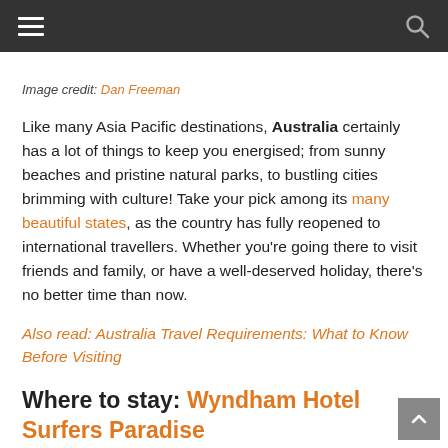Navigation bar with hamburger menu and search icon
Image credit: Dan Freeman
Like many Asia Pacific destinations, Australia certainly has a lot of things to keep you energised; from sunny beaches and pristine natural parks, to bustling cities brimming with culture! Take your pick among its many beautiful states, as the country has fully reopened to international travellers. Whether you're going there to visit friends and family, or have a well-deserved holiday, there's no better time than now.
Also read: Australia Travel Requirements: What to Know Before Visiting
Where to stay: Wyndham Hotel Surfers Paradise